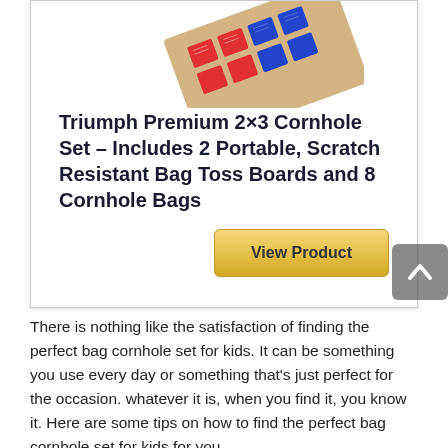[Figure (illustration): Product image of cornhole set with colored bags (red and blue squares) and a beige board, shown at an angle]
Triumph Premium 2×3 Cornhole Set – Includes 2 Portable, Scratch Resistant Bag Toss Boards and 8 Cornhole Bags
View Product
There is nothing like the satisfaction of finding the perfect bag cornhole set for kids. It can be something you use every day or something that's just perfect for the occasion. whatever it is, when you find it, you know it. Here are some tips on how to find the perfect bag cornhole set for kids for you...